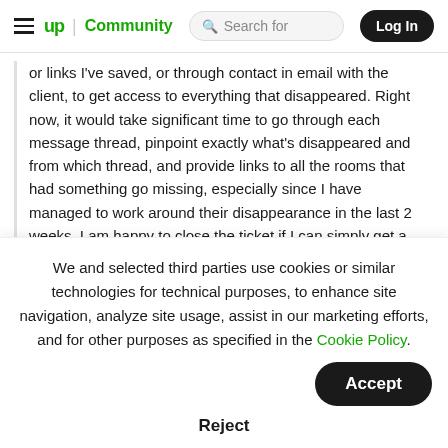up Community | Search for | Log In
or links I've saved, or through contact in email with the client, to get access to everything that disappeared. Right now, it would take significant time to go through each message thread, pinpoint exactly what's disappeared and from which thread, and provide links to all the rooms that had something go missing, especially since I have managed to work around their disappearance in the last 2 weeks. I am happy to close the ticket if I can simply get a response regarding what caused
We and selected third parties use cookies or similar technologies for technical purposes, to enhance site navigation, analyze site usage, assist in our marketing efforts, and for other purposes as specified in the Cookie Policy.
Accept
Reject